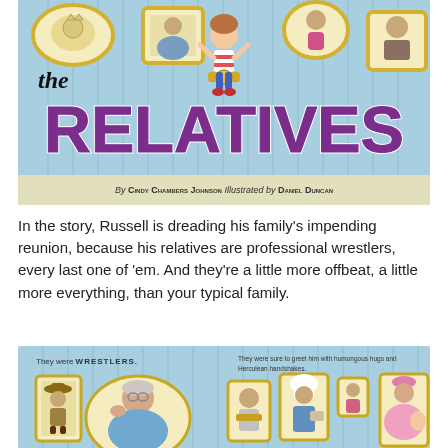[Figure (illustration): Book cover of 'the RELATIVES' showing a child in a wrestling championship belt surrounded by framed portraits of wrestler relatives on a blue striped background. By Cindy Chambers Johnson, illustrated by Daniel Duncan.]
In the story, Russell is dreading his family's impending reunion, because his relatives are professional wrestlers, every last one of 'em. And they're a little more offbeat, a little more everything, than your typical family.
[Figure (illustration): Interior spread from the book showing framed wrestler portraits on a blue background. Left side text reads 'They were WRESTLERS.' Right side text reads 'They were sure to greet him with humongous hugs and Herculean handshakes.']